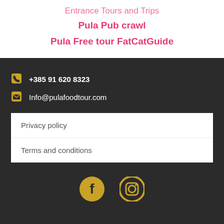Pula Pub crawl
Pula Free tour FatCatGuide
+385 91 620 8323
Info@pulafoodtour.com
Privacy policy
Terms and conditions
[Figure (illustration): Facebook and Instagram social media icons in gold/yellow color on dark background]
All rights reserved 2019 @PulaFoodTour